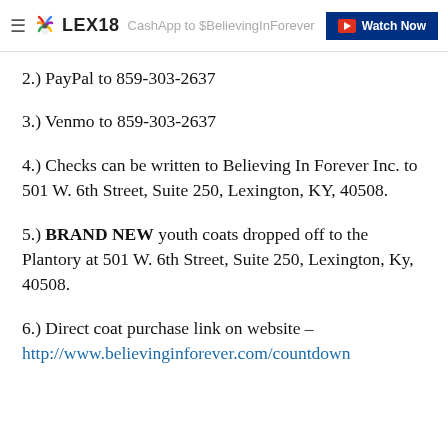LEX18 | CashApp to $BelievingInForever | Watch Now
2.) PayPal to 859-303-2637
3.) Venmo to 859-303-2637
4.) Checks can be written to Believing In Forever Inc. to 501 W. 6th Street, Suite 250, Lexington, KY, 40508.
5.) BRAND NEW youth coats dropped off to the Plantory at 501 W. 6th Street, Suite 250, Lexington, Ky, 40508.
6.) Direct coat purchase link on website – http://www.believinginforever.com/countdown